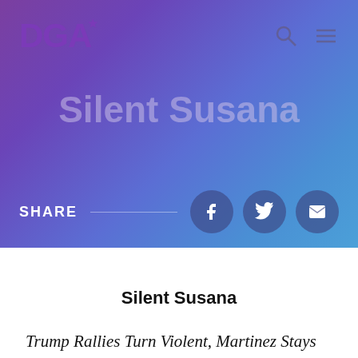[Figure (screenshot): DGA website header with purple-to-blue gradient background, DGA logo in top left, search and menu icons in top right, 'Silent Susana' title text in center, and a share bar with Facebook, Twitter, and email buttons at the bottom of the hero section.]
Silent Susana
Trump Rallies Turn Violent, Martinez Stays